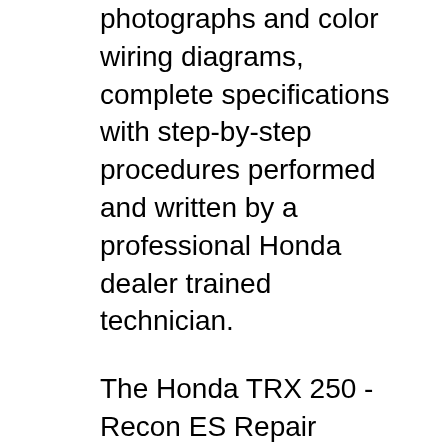photographs and color wiring diagrams, complete specifications with step-by-step procedures performed and written by a professional Honda dealer trained technician.
The Honda TRX 250 - Recon ES Repair Manual from Clymer is the best book for performing service on your ATV . Go! Home > ATV Manual > Honda > Recon Manual > Honda TRX 250 Recon Manual: accuracy and clarity to guide the reader through each service, troubleshooting and repair procedure. The Honda Recon manual includes the following chapters: Jan 27, 2013 · As a member, you can post in our forums, upload your photos and videos, use and